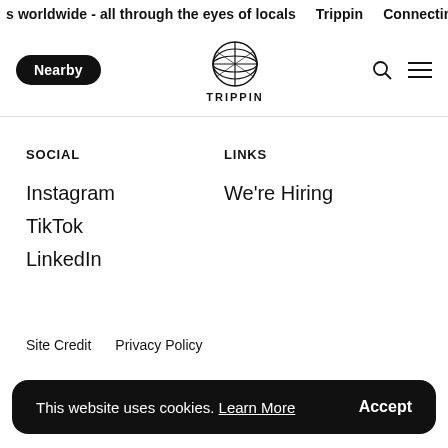s worldwide - all through the eyes of locals   Trippin   Connecting
[Figure (logo): Trippin globe logo with bold TRIPPIN text and latitude/longitude line globe icon]
Nearby
SOCIAL
LINKS
Instagram
We're Hiring
TikTok
LinkedIn
Site Credit   Privacy Policy
This website uses cookies. Learn More   Accept